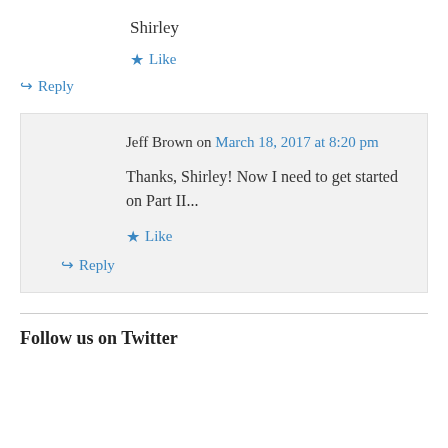Shirley
★ Like
↪ Reply
Jeff Brown on March 18, 2017 at 8:20 pm
Thanks, Shirley! Now I need to get started on Part II...
★ Like
↪ Reply
Follow us on Twitter